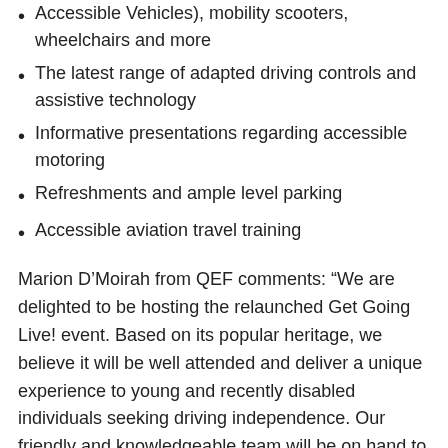Accessible Vehicles), mobility scooters, wheelchairs and more
The latest range of adapted driving controls and assistive technology
Informative presentations regarding accessible motoring
Refreshments and ample level parking
Accessible aviation travel training
Marion D’Moirah from QEF comments: “We are delighted to be hosting the relaunched Get Going Live! event. Based on its popular heritage, we believe it will be well attended and deliver a unique experience to young and recently disabled individuals seeking driving independence. Our friendly and knowledgeable team will be on hand to offer the latest guidance regarding